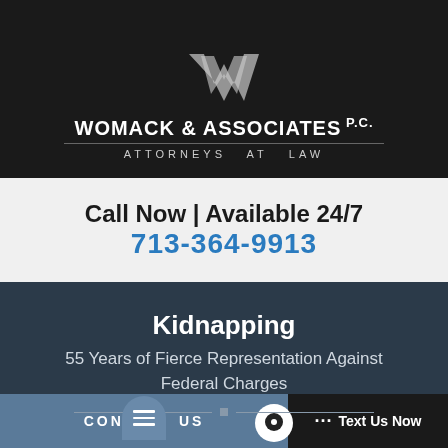[Figure (logo): Womack & Associates P.C. law firm logo with stylized W mark on black background]
Call Now | Available 24/7
713-364-9913
Kidnapping
55 Years of Fierce Representation Against Federal Charges
CONTACT US
... Text Us Now